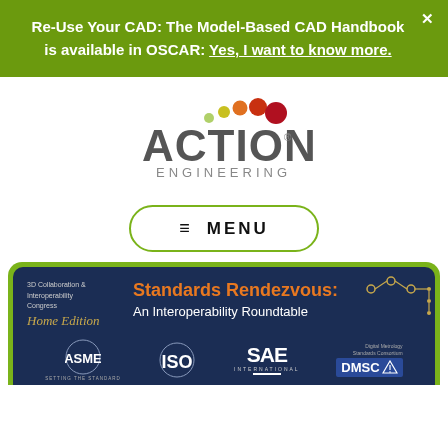Re-Use Your CAD: The Model-Based CAD Handbook is available in OSCAR: Yes, I want to know more.
[Figure (logo): Action Engineering logo with colored dots arc and gray text]
≡ MENU
[Figure (infographic): 3D Collaboration & Interoperability Congress Home Edition - Standards Rendezvous: An Interoperability Roundtable banner with ASME, ISO, SAE International, and DMSC logos]